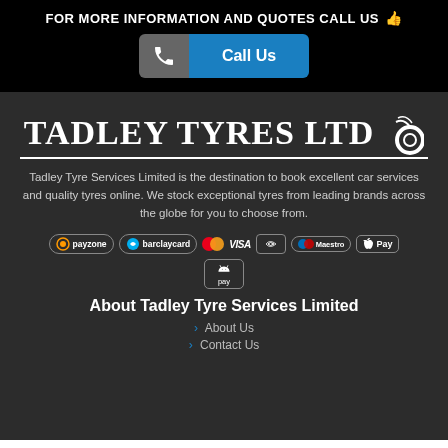FOR MORE INFORMATION AND QUOTES CALL US
[Figure (infographic): Call Us button with phone icon on grey background and blue label]
[Figure (logo): Tadley Tyres Ltd logo in white serif font with tyre graphic on dark background]
Tadley Tyre Services Limited is the destination to book excellent car services and quality tyres online. We stock exceptional tyres from leading brands across the globe for you to choose from.
[Figure (infographic): Payment method logos: payzone, barclaycard, MasterCard, VISA, contactless, Maestro, Apple Pay, Android Pay]
About Tadley Tyre Services Limited
> About Us
> Contact Us